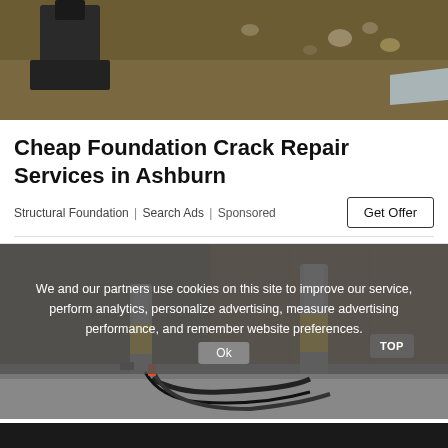[Figure (photo): Construction site with foundation excavation, showing dark soil and machinery]
Cheap Foundation Crack Repair Services in Ashburn
Structural Foundation | Search Ads | Sponsored
[Figure (photo): Foundation repair equipment with yellow hydraulic cylinders attached to concrete wall]
We and our partners use cookies on this site to improve our service, perform analytics, personalize advertising, measure advertising performance, and remember website preferences.
2022 Prices For Residential Foundation...